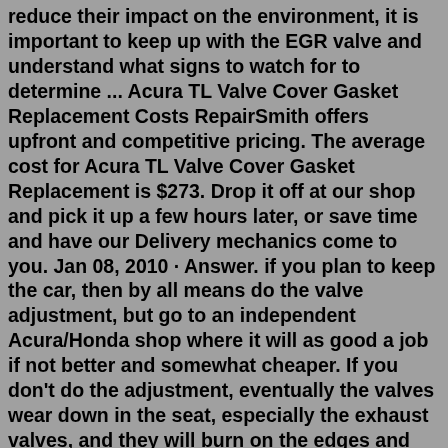reduce their impact on the environment, it is important to keep up with the EGR valve and understand what signs to watch for to determine ... Acura TL Valve Cover Gasket Replacement Costs RepairSmith offers upfront and competitive pricing. The average cost for Acura TL Valve Cover Gasket Replacement is $273. Drop it off at our shop and pick it up a few hours later, or save time and have our Delivery mechanics come to you. Jan 08, 2010 · Answer. if you plan to keep the car, then by all means do the valve adjustment, but go to an independent Acura/Honda shop where it will as good a job if not better and somewhat cheaper. If you don't do the adjustment, eventually the valves wear down in the seat, especially the exhaust valves, and they will burn on the edges and you will have a ... Apr 09, 2011 · You should have done your research before buying this car. Acura made some bad transmissions for 2000-2003 TL/CLs, everyone knows about it (sales people obviously won't point it out to you). If tranny fails, dealership cost 4000-5000, but you can get it done